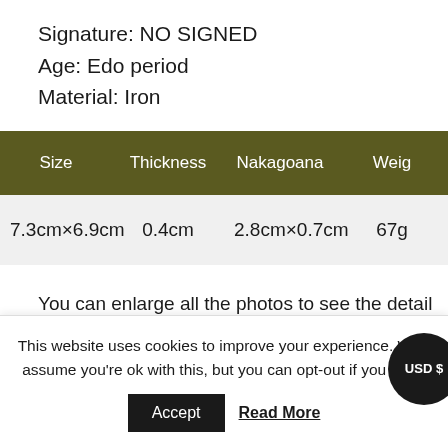Signature: NO SIGNED
Age: Edo period
Material: Iron
| Size | Thickness | Nakagoana | Weig… |
| --- | --- | --- | --- |
| 7.3cm×6.9cm | 0.4cm | 2.8cm×0.7cm | 67g… |
You can enlarge all the photos to see the detail of the item.
In stock
This website uses cookies to improve your experience. We'll assume you're ok with this, but you can opt-out if you wish.